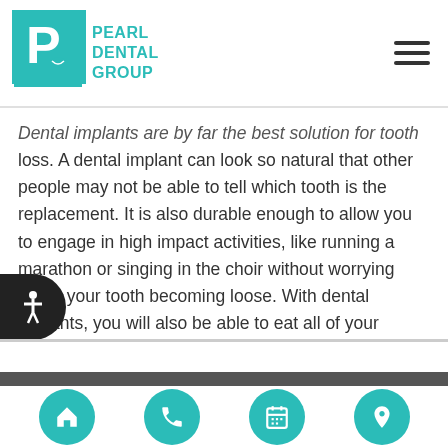Pearl Dental Group
Dental implants are by far the best solution for tooth loss. A dental implant can look so natural that other people may not be able to tell which tooth is the replacement. It is also durable enough to allow you to engage in high impact activities, like running a marathon or singing in the choir without worrying about your tooth becoming loose. With dental implants, you will also be able to eat all of your favorite foods. Patients are able to smile with confidence after getting dental implants..
[Figure (illustration): Accessibility icon button on bottom-left]
Navigation bar with home, phone, calendar, and location icons